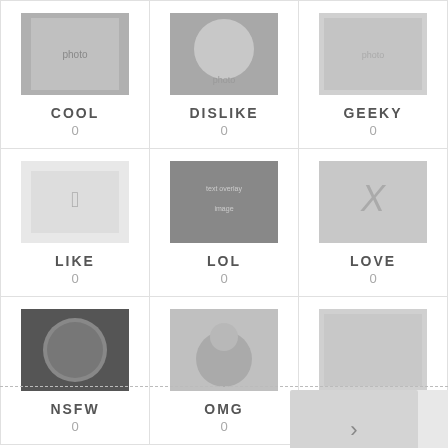[Figure (infographic): 3x3 grid of reaction buttons with thumbnails, labels and counts: COOL(0), DISLIKE(0), GEEKY(0), LIKE(0), LOL(0), LOVE(0), NSFW(0), OMG(0), WTF(0)]
Navigation: previous (<) and next (>) buttons